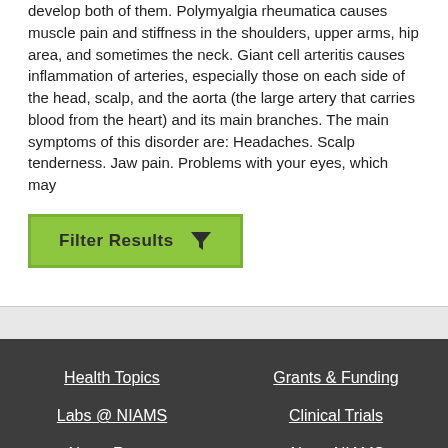develop both of them. Polymyalgia rheumatica causes muscle pain and stiffness in the shoulders, upper arms, hip area, and sometimes the neck. Giant cell arteritis causes inflammation of arteries, especially those on each side of the head, scalp, and the aorta (the large artery that carries blood from the heart) and its main branches. The main symptoms of this disorder are: Headaches. Scalp tenderness. Jaw pain. Problems with your eyes, which may
[Figure (other): Green 'Filter Results' button with funnel/filter icon]
Health Topics | Labs @ NIAMS | News Room | Grants & Funding | Clinical Trials | About NIAMS